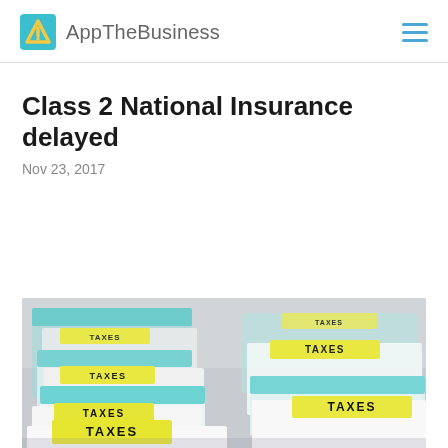AppTheBusiness
Class 2 National Insurance delayed
Nov 23, 2017
[Figure (photo): File folders with yellow and teal tabs labeled TAXES stacked in a box, close-up photo]